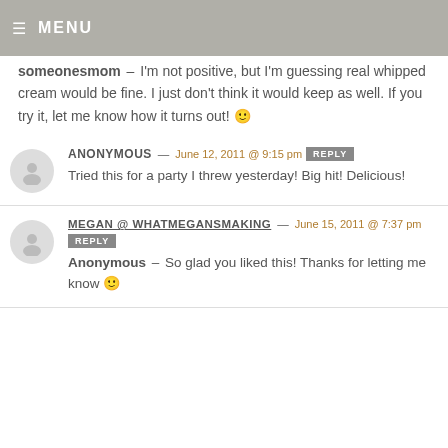≡ MENU
someonesmom – I'm not positive, but I'm guessing real whipped cream would be fine. I just don't think it would keep as well. If you try it, let me know how it turns out! 🙂
ANONYMOUS — June 12, 2011 @ 9:15 pm REPLY
Tried this for a party I threw yesterday! Big hit! Delicious!
MEGAN @ WHATMEGANSMAKING — June 15, 2011 @ 7:37 pm REPLY
Anonymous – So glad you liked this! Thanks for letting me know 🙂